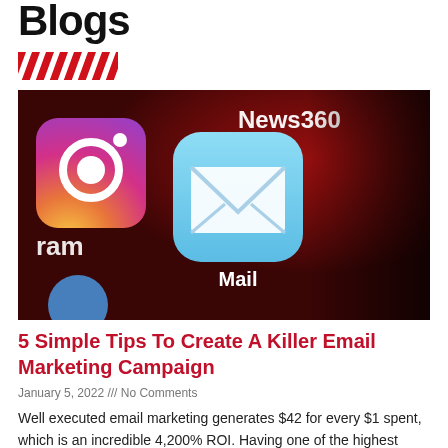Blogs
[Figure (illustration): Red diagonal stripe decoration / divider graphic]
[Figure (photo): Close-up photo of a smartphone screen showing app icons including Instagram (ram), Mail app (blue envelope icon), and News360 on a dark red background with a Mail label below the envelope icon.]
5 Simple Tips To Create A Killer Email Marketing Campaign
January 5, 2022 /// No Comments
Well executed email marketing generates $42 for every $1 spent, which is an incredible 4,200% ROI. Having one of the highest return on investment for